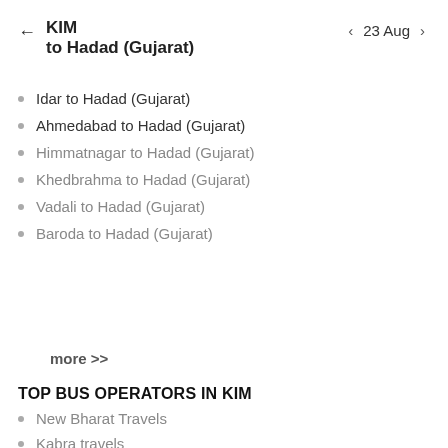KIM to Hadad (Gujarat) | 23 Aug
Idar to Hadad (Gujarat)
Ahmedabad to Hadad (Gujarat)
Himmatnagar to Hadad (Gujarat)
Khedbrahma to Hadad (Gujarat)
Vadali to Hadad (Gujarat)
Baroda to Hadad (Gujarat)
more >>
TOP BUS OPERATORS IN KIM
New Bharat Travels
Kabra travels
Bhumi Travels